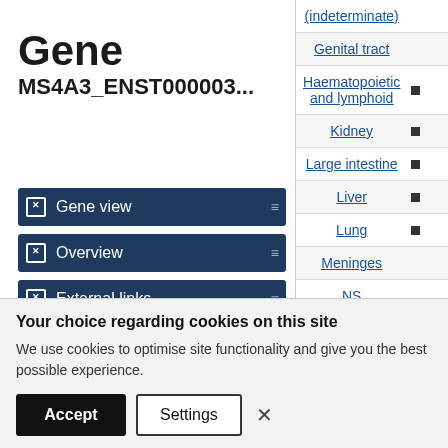Gene MS4A3_ENST000003...
Gene view
Overview
External links
Drug resistance
Tissue distribution
Genome browser
Mutation distribution
| Tissue | Marker |
| --- | --- |
| (indeterminate) |  |
| Genital tract |  |
| Haematopoietic and lymphoid | ■ |
| Kidney | ■ |
| Large intestine | ■ |
| Liver | ■ |
| Lung | ■ |
| Meninges |  |
| NS |  |
Your choice regarding cookies on this site
We use cookies to optimise site functionality and give you the best possible experience.
Accept | Settings | ×